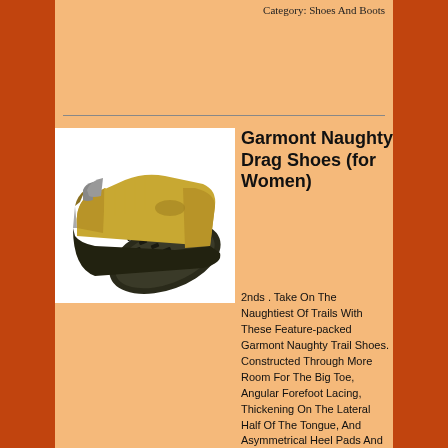Category: Shoes And Boots
[Figure (photo): Two yellow/tan Garmont Naughty Drag hiking shoes shown from the side and bottom, with black rubber soles, on a white background.]
Garmont Naughty Drag Shoes (for Women)
2nds . Take On The Naughtiest Of Trails With These Feature-packed Garmont Naughty Trail Shoes. Constructed Through More Room For The Big Toe, Angular Forefoot Lacing, Thickening On The Lateral Half Of The Tongue, And Asymmetrical Heel Pads And Cuff Heights For Security And Comfort. Nubuck And Suede Uppers Quick-drying Synthetif Lining Removable Footbed Eva Midsole Rhinostrike Rubber Outsole Padded Synthetic Mesh Tongue Weight: 1 Lb. 9 Oz. Pr. Medium Width 2nds . China.